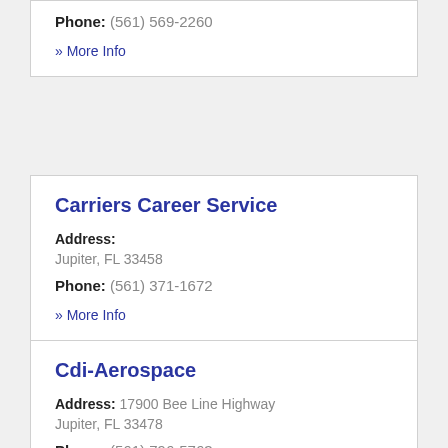Phone: (561) 569-2260
» More Info
Carriers Career Service
Address: Jupiter, FL 33458
Phone: (561) 371-1672
» More Info
Cdi-Aerospace
Address: 17900 Bee Line Highway Jupiter, FL 33478
Phone: (561) 796-5763